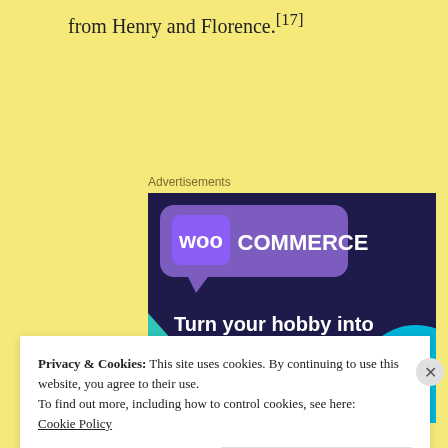from Henry and Florence.[17]
Advertisements
[Figure (illustration): WooCommerce advertisement banner with dark purple/navy background, teal triangle shape, cyan circle, purple speech bubble with 'woo COMMERCE' logo text, and bold white text reading 'Turn your hobby into a business in 8 steps']
Privacy & Cookies: This site uses cookies. By continuing to use this website, you agree to their use.
To find out more, including how to control cookies, see here:
Cookie Policy
Close and accept